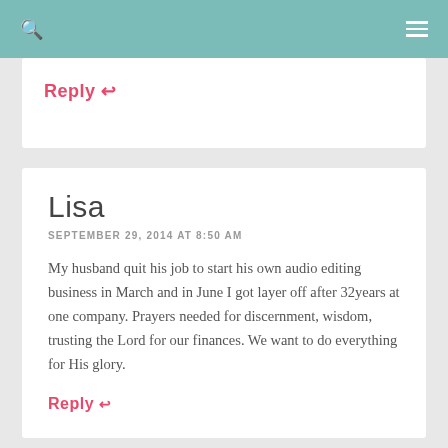Navigation bar with search and menu icons
Reply
Lisa
SEPTEMBER 29, 2014 AT 8:50 AM
My husband quit his job to start his own audio editing business in March and in June I got layer off after 32years at one company. Prayers needed for discernment, wisdom, trusting the Lord for our finances. We want to do everything for His glory.
Reply ↩